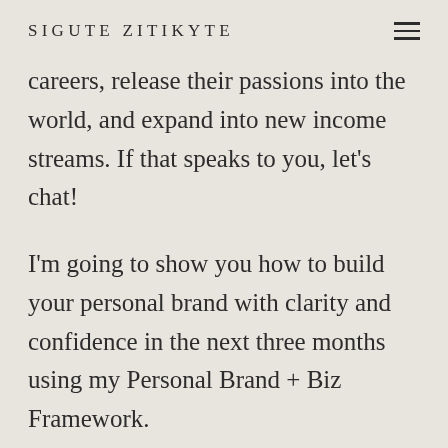SIGUTE ZITIKYTE
careers, release their passions into the world, and expand into new income streams. If that speaks to you, let's chat!
I'm going to show you how to build your personal brand with clarity and confidence in the next three months using my Personal Brand + Biz Framework.